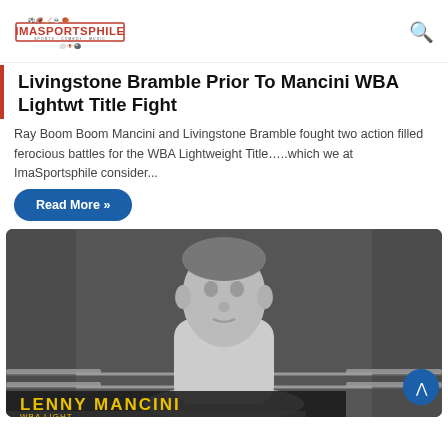IMASPORTSPHILE
Livingstone Bramble Prior To Mancini WBA Lightwt Title Fight
Ray Boom Boom Mancini and Livingstone Bramble fought two action filled ferocious battles for the WBA Lightweight Title…..which we at ImaSportsphile consider...
Read More »
[Figure (photo): Black and white photo of a boxer (labeled LENNY MANCINI) standing in a boxing ring, shirtless, with ring ropes visible. The name LENNY MANCINI appears in yellow text at the bottom of the image.]